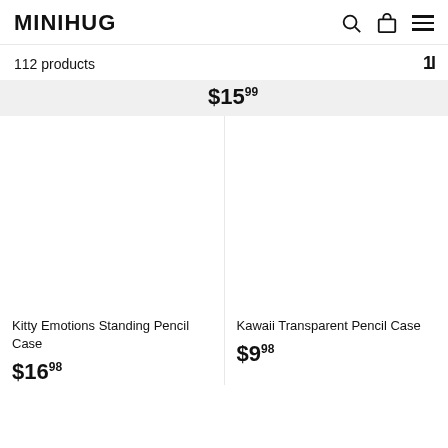MINIHUG
112 products
$15.99
Kitty Emotions Standing Pencil Case
$16.98
Kawaii Transparent Pencil Case
$9.98